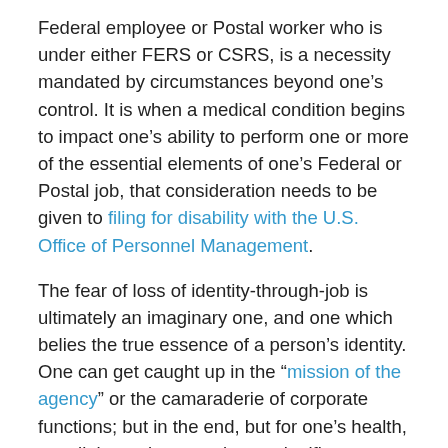Federal employee or Postal worker who is under either FERS or CSRS, is a necessity mandated by circumstances beyond one's control. It is when a medical condition begins to impact one's ability to perform one or more of the essential elements of one's Federal or Postal job, that consideration needs to be given to filing for disability with the U.S. Office of Personnel Management.
The fear of loss of identity-through-job is ultimately an imaginary one, and one which belies the true essence of a person's identity. One can get caught up in the "mission of the agency" or the camaraderie of corporate functions; but in the end, but for one's health, very little retains meaning or significance; and to sacrifice one's health for a bureaucratic entity which will survive long after one's life, is a folly encapsulating tragic proportions.